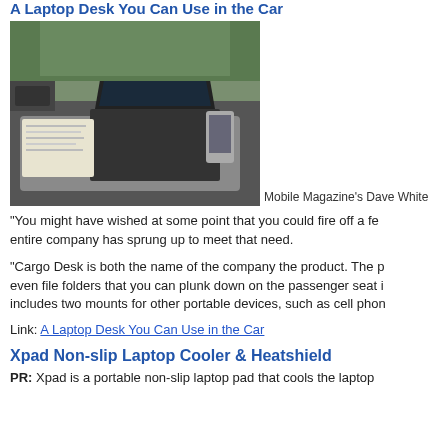A Laptop Desk You Can Use in the Car
[Figure (photo): Photo of a laptop desk mounted in a car, with a laptop open on it, papers to the left, and a phone mounted on the right side. Car interior visible in background.]
Mobile Magazine's Dave White
"You might have wished at some point that you could fire off a few... entire company has sprung up to meet that need.
"Cargo Desk is both the name of the company the product. The p... even file folders that you can plunk down on the passenger seat i... includes two mounts for other portable devices, such as cell phon...
Link: A Laptop Desk You Can Use in the Car
Xpad Non-slip Laptop Cooler & Heatshield
PR: Xpad is a portable non-slip laptop pad that cools the laptop...